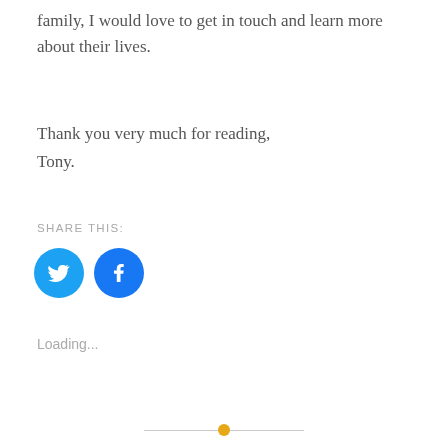family, I would love to get in touch and learn more about their lives.
Thank you very much for reading,
Tony.
SHARE THIS:
[Figure (other): Twitter and Facebook circular social sharing icons in blue]
Loading...